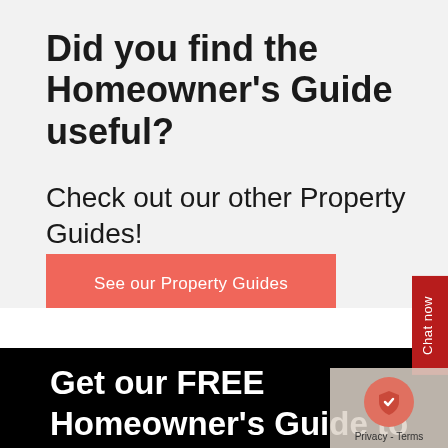Did you find the Homeowner's Guide useful?
Check out our other Property Guides!
See our Property Guides
Get our FREE Homeowner's Guide to